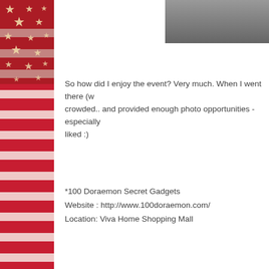[Figure (photo): Partial image visible at top right, dark gray background]
[Figure (illustration): Left sidebar showing American flag with red and white stars pattern]
So how did I enjoy the event? Very much. When I went there (w... crowded.. and provided enough photo opportunities - especially liked :)
*100 Doraemon Secret Gadgets
Website : http://www.100doraemon.com/
Location: Viva Home Shopping Mall
Posted by Unknown at 5:30 PM    No comments:
Labels: 100 doraemon, 100 doraemon malay... doraemon, malaysia doraemon event
Saturday, February 08, 2014
Hotlink 4G Concert Giveaway Tickets!